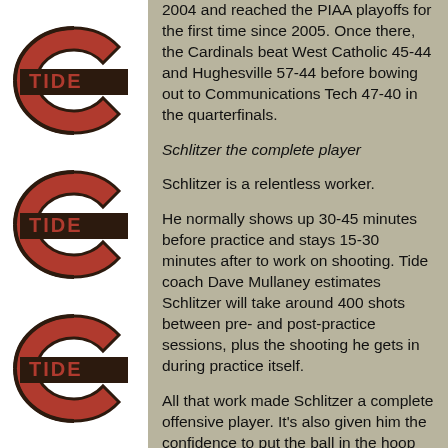[Figure (logo): Carlisle Tide logo: large red letter C with TIDE text in dark outline across the center, top instance]
2004 and reached the PIAA playoffs for the first time since 2005. Once there, the Cardinals beat West Catholic 45-44 and Hughesville 57-44 before bowing out to Communications Tech 47-40 in the quarterfinals.
Schlitzer the complete player
Schlitzer is a relentless worker.
[Figure (logo): Carlisle Tide logo: large red letter C with TIDE text in dark outline across the center, middle instance]
He normally shows up 30-45 minutes before practice and stays 15-30 minutes after to work on shooting. Tide coach Dave Mullaney estimates Schlitzer will take around 400 shots between pre- and post-practice sessions, plus the shooting he gets in during practice itself.
All that work made Schlitzer a complete offensive player. It's also given him the confidence to put the ball in the hoop despite knowing night in and night out he would be the focus of opposing defenses.
[Figure (logo): Carlisle Tide logo: large red letter C with TIDE text in dark outline across the center, bottom instance]
"You just have to go out and figure out where you can be successful against a defense, whether that's in transition,